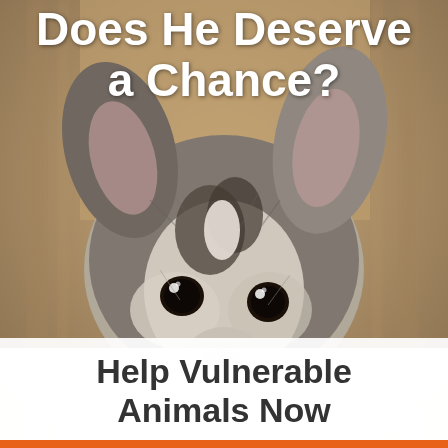Does He Deserve a Chance?
[Figure (photo): Close-up photo of a small puppy (Chihuahua/Pomeranian mix) with grey, black and white fur, large dark eyes, looking directly at camera, blurred cage bars in background]
Help Vulnerable Animals Now